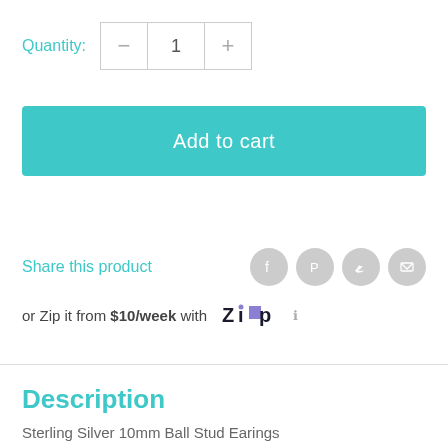Quantity: 1
Add to cart
Share this product
or Zip it from $10/week with Zip
Description
Sterling Silver 10mm Ball Stud Earings